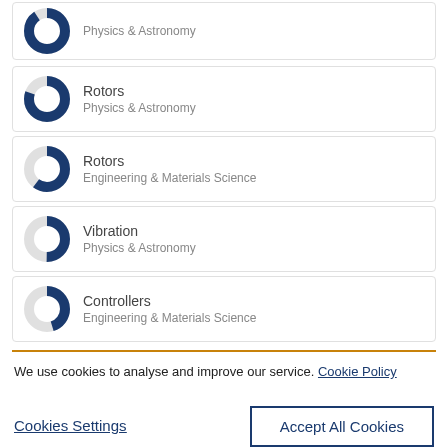Physics & Astronomy
Rotors — Physics & Astronomy
Rotors — Engineering & Materials Science
Vibration — Physics & Astronomy
Controllers — Engineering & Materials Science
We use cookies to analyse and improve our service. Cookie Policy
Cookies Settings
Accept All Cookies